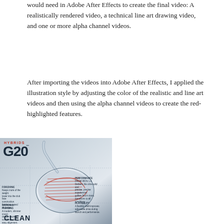would need in Adobe After Effects to create the final video: A realistically rendered video, a technical line art drawing video, and one or more alpha channel videos.
After importing the videos into Adobe After Effects, I applied the illustration style by adjusting the color of the realistic and line art videos and then using the alpha channel videos to create the red-highlighted features.
[Figure (illustration): Two-panel product marketing image for Ping G20 Hybrid golf clubs. Left panel shows 'HYBRIDS G20' branding over a large rendered image of a golf club head with annotation labels for features like FORGIVING, OPTICALLY PLEASING, PERFORMANCE, and PLAYABILITY, with 'CLEAN' text at bottom. Right panel titled 'WHY IT WORKS' shows technical diagrams comparing traditional hybrid vs G20 hybrid club head designs, with annotations for OFFSET HOSEL DESIGN, INCREASED BOUNCE AND CAMBER, and COMPACT HEAD, plus shaft length comparison diagrams.]